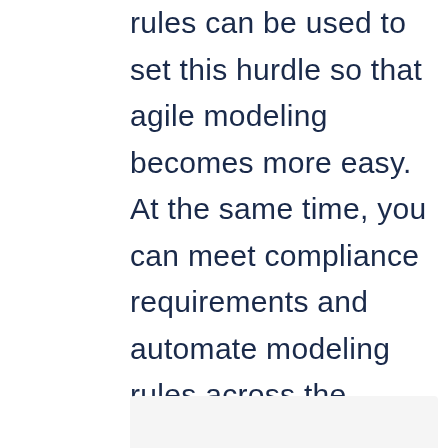rules can be used to set this hurdle so that agile modeling becomes more easy. At the same time, you can meet compliance requirements and automate modeling rules across the enterprise.